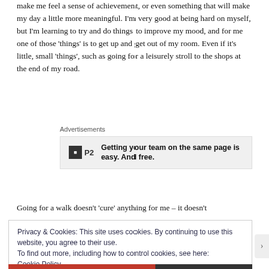make me feel a sense of achievement, or even something that will make my day a little more meaningful. I'm very good at being hard on myself, but I'm learning to try and do things to improve my mood, and for me one of those 'things' is to get up and get out of my room. Even if it's little, small 'things', such as going for a leisurely stroll to the shops at the end of my road.
[Figure (other): Advertisement banner for P2 product with logo and text: Getting your team on the same page is easy. And free.]
Going for a walk doesn't 'cure' anything for me – it doesn't
Privacy & Cookies: This site uses cookies. By continuing to use this website, you agree to their use.
To find out more, including how to control cookies, see here:
Cookie Policy
Close and accept